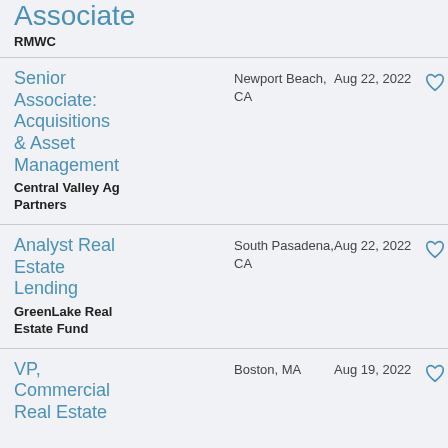Senior Associate
RMWC
Senior Associate: Acquisitions & Asset Management
Central Valley Ag Partners
Newport Beach, CA
Aug 22, 2022
Analyst Real Estate Lending
GreenLake Real Estate Fund
South Pasadena, CA
Aug 22, 2022
VP, Commercial Real Estate
Boston, MA
Aug 19, 2022